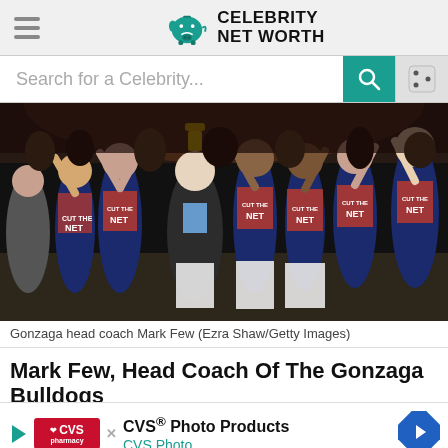Celebrity Net Worth
Search for a Celebrity...
[Figure (photo): Gonzaga head coach Mark Few holding a trophy and celebrating with players wearing 'Cut The Net' shirts]
Gonzaga head coach Mark Few (Ezra Shaw/Getty Images)
Mark Few, Head Coach Of The Gonzaga Bulldogs
If it see like Mark Few has always been Gonzaga's sideline ed
[Figure (other): CVS Photo Products advertisement with CVS Pharmacy logo and navigation arrow]